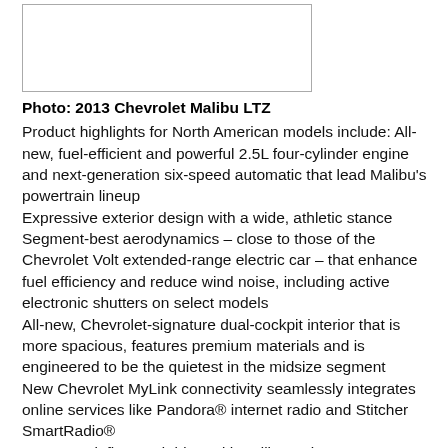[Figure (photo): Photo placeholder box for 2013 Chevrolet Malibu LTZ]
Photo: 2013 Chevrolet Malibu LTZ
Product highlights for North American models include: All-new, fuel-efficient and powerful 2.5L four-cylinder engine and next-generation six-speed automatic that lead Malibu's powertrain lineup
Expressive exterior design with a wide, athletic stance
Segment-best aerodynamics – close to those of the Chevrolet Volt extended-range electric car – that enhance fuel efficiency and reduce wind noise, including active electronic shutters on select models
All-new, Chevrolet-signature dual-cockpit interior that is more spacious, features premium materials and is engineered to be the quietest in the midsize segment
New Chevrolet MyLink connectivity seamlessly integrates online services like Pandora® internet radio and Stitcher SmartRadio®
European-influenced ride and handling traits
New safety features and technologies including 10 air